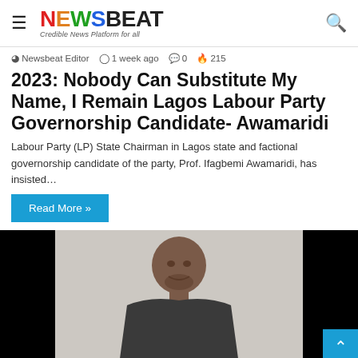NEWSBEAT — Credible News Platform for all
Newsbeat Editor  1 week ago  0  215
2023: Nobody Can Substitute My Name, I Remain Lagos Labour Party Governorship Candidate- Awamaridi
Labour Party (LP) State Chairman in Lagos state and factional governorship candidate of the party, Prof. Ifagbemi Awamaridi, has insisted…
Read More »
[Figure (photo): Portrait photo of a man against a light background, flanked by black panels on left and right sides. A blue back-to-top button is visible in the bottom right corner.]